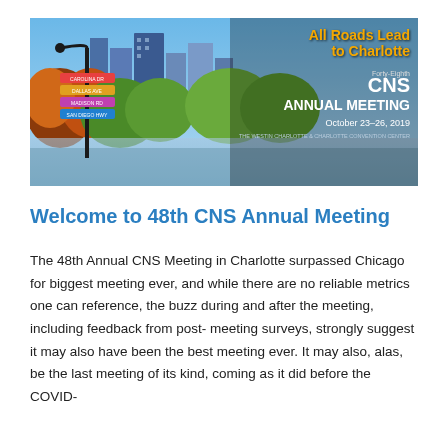[Figure (photo): Banner image for CNS Annual Meeting showing Charlotte city skyline with colorful directional signs, autumn trees, and text overlay reading 'All Roads Lead to Charlotte, Forty-Eighth CNS Annual Meeting, October 23-26, 2019, The Westin Charlotte & Charlotte Convention Center']
Welcome to 48th CNS Annual Meeting
The 48th Annual CNS Meeting in Charlotte surpassed Chicago for biggest meeting ever, and while there are no reliable metrics one can reference, the buzz during and after the meeting, including feedback from post-meeting surveys, strongly suggest it may also have been the best meeting ever. It may also, alas, be the last meeting of its kind, coming as it did before the COVID-